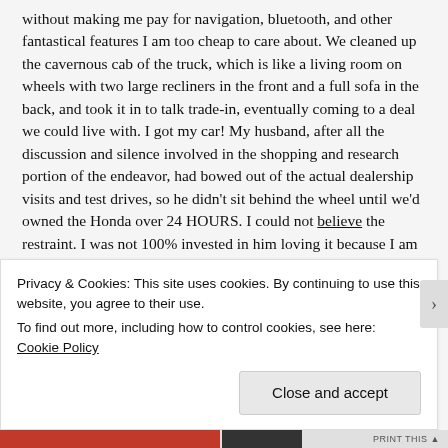without making me pay for navigation, bluetooth, and other fantastical features I am too cheap to care about. We cleaned up the cavernous cab of the truck, which is like a living room on wheels with two large recliners in the front and a full sofa in the back, and took it in to talk trade-in, eventually coming to a deal we could live with. I got my car! My husband, after all the discussion and silence involved in the shopping and research portion of the endeavor, had bowed out of the actual dealership visits and test drives, so he didn't sit behind the wheel until we'd owned the Honda over 24 HOURS. I could not believe the restraint. I was not 100% invested in him loving it because I am kind of growing
Privacy & Cookies: This site uses cookies. By continuing to use this website, you agree to their use.
To find out more, including how to control cookies, see here: Cookie Policy
Close and accept